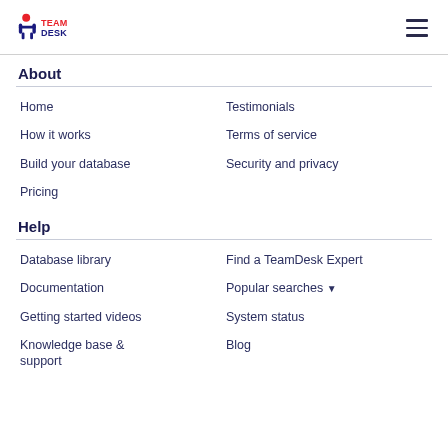TeamDesk
About
Home
Testimonials
How it works
Terms of service
Build your database
Security and privacy
Pricing
Help
Database library
Find a TeamDesk Expert
Documentation
Popular searches ▼
Getting started videos
System status
Knowledge base & support
Blog